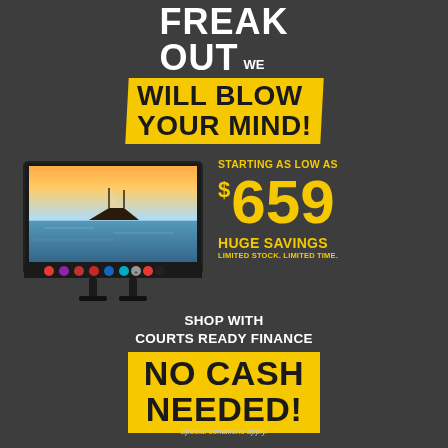FREAK OUT WE WILL BLOW YOUR MIND!
[Figure (illustration): Smart TV displaying a scenic water and boat image, with app icons on the bottom bezel]
STARTING AS LOW AS $659
HUGE SAVINGS LIMITED STOCK. LIMITED TIME.
SHOP WITH COURTS READY FINANCE NO CASH NEEDED!
Special conditions apply.